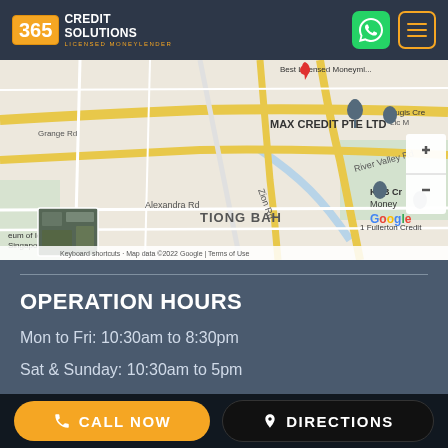[Figure (logo): 365 Credit Solutions - Licensed Moneylender logo with orange badge]
[Figure (map): Google Map showing Singapore area with locations including MAX CREDIT PTE LTD, KBB Credit Money, Bugis Credit, 1 Fullerton Credit, TIONG BAH area, Alexandra Rd, River Valley Rd, Grange Rd, Zion Rd. Map data ©2022 Google. Includes zoom controls and satellite view thumbnail.]
OPERATION HOURS
Mon to Fri: 10:30am to 8:30pm
Sat & Sunday: 10:30am to 5pm
CALL NOW
DIRECTIONS